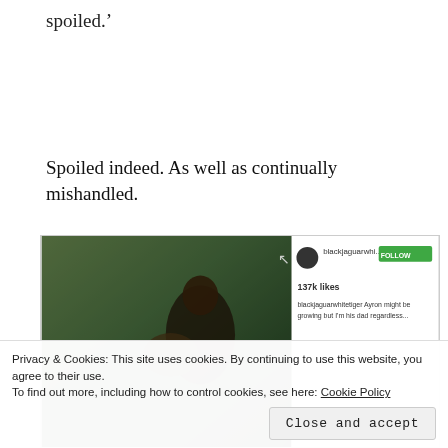spoiled.'
Spoiled indeed. As well as continually mishandled.
[Figure (screenshot): Screenshot of an Instagram post showing a man holding a young animal (jaguar cub). The right side shows an Instagram interface with username 'blackjaguarwhi...', a green FOLLOW button, '137k likes', and caption text 'blackjaguarwhitetiger Ayron might be growing but I'm his dad regardless...']
Privacy & Cookies: This site uses cookies. By continuing to use this website, you agree to their use.
To find out more, including how to control cookies, see here: Cookie Policy
Close and accept